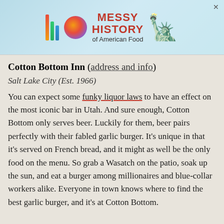[Figure (other): Advertisement banner for 'Messy History of American Food' with colorful bar chart logo, gradient circle, red bold text, and Statue of Liberty illustration on a light blue background]
Cotton Bottom Inn (address and info)
Salt Lake City (Est. 1966)
You can expect some funky liquor laws to have an effect on the most iconic bar in Utah. And sure enough, Cotton Bottom only serves beer. Luckily for them, beer pairs perfectly with their fabled garlic burger. It's unique in that it's served on French bread, and it might as well be the only food on the menu. So grab a Wasatch on the patio, soak up the sun, and eat a burger among millionaires and blue-collar workers alike. Everyone in town knows where to find the best garlic burger, and it's at Cotton Bottom.